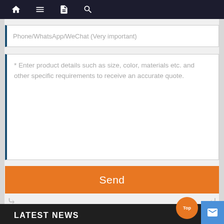Navigation bar with home, menu, document, and search icons
Phone/WhatsApp/WeChat (Very important)
* Enter product details such as size, color, materials etc. and other specific requirements to receive an accurate quote.
Send
LATEST NEWS
Four Leaf Clover Lucky Pattern Teal Squar...
Hello friends, here is Xiamen Bestwares, your good friend help you find better tableware and enjoy life. Here we would read more